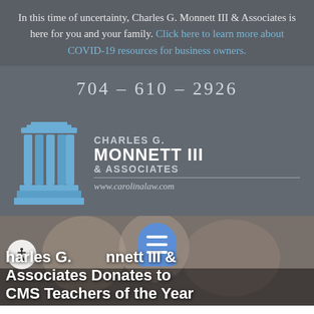In this time of uncertainty, Charles G. Monnett III & Associates is here for you and your family. Click here to learn more about COVID-19 resources for business owners.
704-610-2926
[Figure (logo): Charles G. Monnett III & Associates law firm logo with blue pillar/column icon, firm name in white and gray text, and website www.carolinalaw.com]
[Figure (photo): Background photo of people/students with overlay text partially visible: 'Charles G. Monnett III & Associates Donates to CMS Teachers of the Year'. Accessibility icon and menu icon overlaid.]